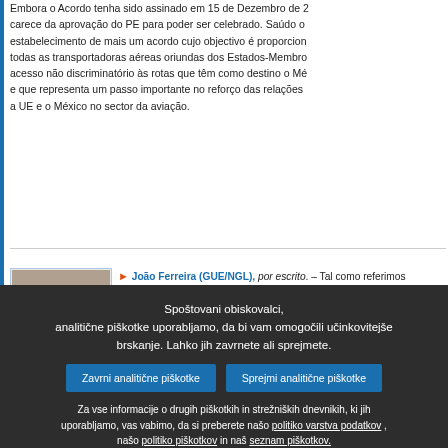Embora o Acordo tenha sido assinado em 15 de Dezembro de 2... carece da aprovação do PE para poder ser celebrado. Saúdo o estabelecimento de mais um acordo cujo objectivo é proporcion... todas as transportadoras aéreas oriundas dos Estados-Membro... acesso não discriminatório às rotas que têm como destino o Mé... e que representa um passo importante no reforço das relações a UE e o México no sector da aviação.
João Ferreira (GUE/NGL), por escrito. – Tal como referimos acordos anteriores de âmbito idêntico, no quadro concreto actu... que se desenvolve a actividade da aviação civil, esta proposta e acordo suscita-nos dúvidas quanto ao seu alcance e possíveis consequências. Com efeito, evitar discriminações entre as transportadoras aéreas da UE, com a alegada criação de condi... iguais às diversas companhias europeias, poderá concorrer par...
Spoštovani obiskovalci,
analitične piškotke uporabljamo, da bi vam omogočili učinkovitejše brskanje. Lahko jih zavrnete ali sprejmete.
Zavrni analitične piškotke
Sprejmi analitične piškotke
Za vse informacije o drugih piškotkih in strežniških dnevnikih, ki jih uporabljamo, vas vabimo, da si preberete našo politiko varstva podatkov , našo politiko piškotkov in naš seznam piškotkov.